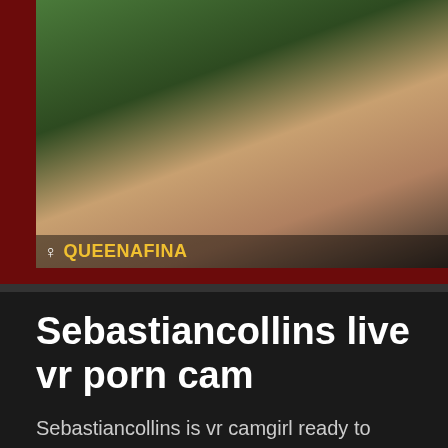[Figure (screenshot): Thumbnail image showing a cam performer with username QUEENAFINA and a follow/kimberly overlay text]
Sebastiancollins  live vr porn cam
Sebastiancollins is vr camgirl ready to chat and flirt! Click on the button or video to enter her live cam chatrroom to directly initiate the live camming stream, join the crowd in tipping this cam girl towards goals set for that erotic live cam show! Only register and you are ready to dive in sexual heaven with gorgeous webcam angel already wet – as you can see it!